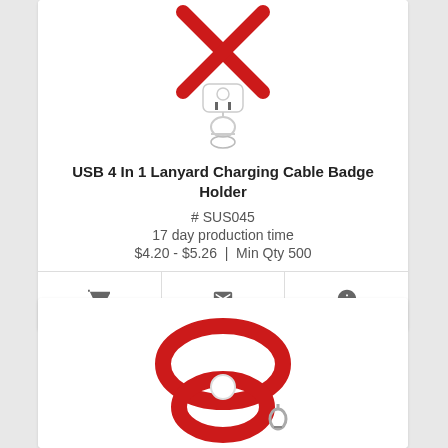[Figure (photo): USB 4-in-1 Lanyard Charging Cable Badge Holder product photo showing red X-shaped cable with white USB hub and hook attachment]
USB 4 In 1 Lanyard Charging Cable Badge Holder
# SUS045
17 day production time
$4.20 - $5.26 | Min Qty 500
[Figure (photo): Red lanyard shaped in figure-8 loop with small white circular connector and metal hook, product photo on white background]